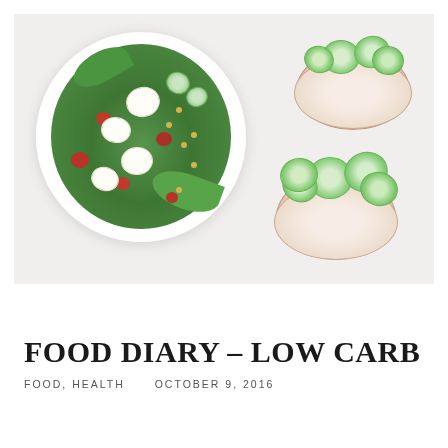[Figure (photo): Overhead food photo on marble surface: a large white plate with a green salad topped with mozzarella slices, cherry tomatoes, cucumber slices, and yellow peas on the left; two rice cakes topped with ham and cucumber slices on the right.]
FOOD DIARY – LOW CARB
FOOD, HEALTH   OCTOBER 9, 2016